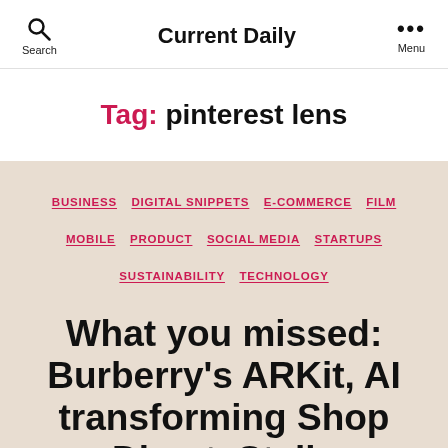Current Daily
Tag: pinterest lens
BUSINESS   DIGITAL SNIPPETS   E-COMMERCE   FILM   MOBILE   PRODUCT   SOCIAL MEDIA   STARTUPS   SUSTAINABILITY   TECHNOLOGY
What you missed: Burberry's ARKit, AI transforming Shop Direct, Stella McCartney